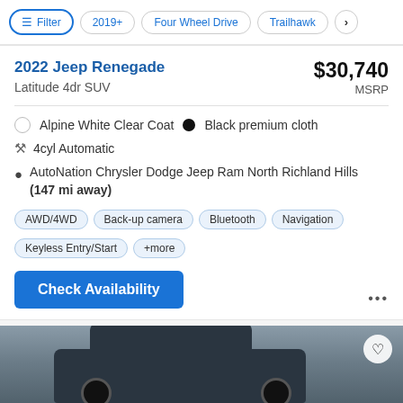Filter | 2019+ | Four Wheel Drive | Trailhawk | >
2022 Jeep Renegade
Latitude 4dr SUV
$30,740 MSRP
Alpine White Clear Coat  •  Black premium cloth
4cyl Automatic
AutoNation Chrysler Dodge Jeep Ram North Richland Hills (147 mi away)
AWD/4WD
Back-up camera
Bluetooth
Navigation
Keyless Entry/Start
+more
Check Availability
[Figure (photo): Partial view of a white Jeep Renegade SUV photographed from above/behind angle against a concrete background]